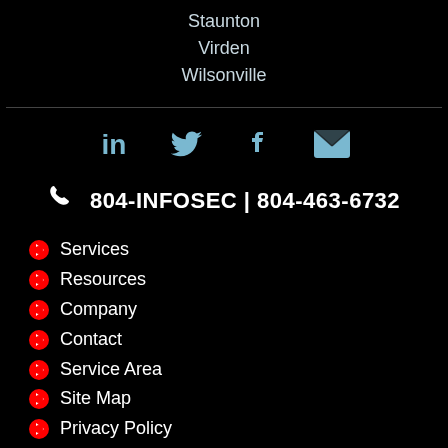Staunton
Virden
Wilsonville
[Figure (infographic): Social media icons row: LinkedIn, Twitter, Facebook, Email]
804-INFOSEC | 804-463-6732
Services
Resources
Company
Contact
Service Area
Site Map
Privacy Policy
Terms of Use
© 2011-2022 Xervant Cyber Security. All rights reserved.